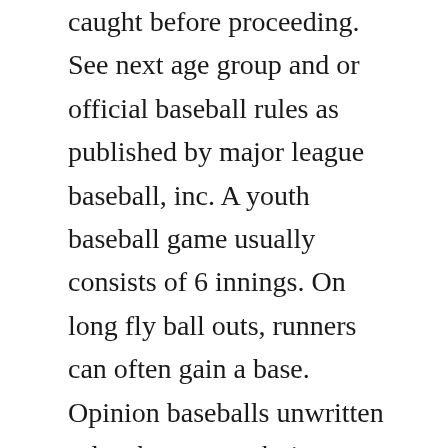caught before proceeding. See next age group and or official baseball rules as published by major league baseball, inc. A youth baseball game usually consists of 6 innings. On long fly ball outs, runners can often gain a base. Opinion baseballs unwritten rules the new york times. Running the bases, missing a base, tagging up after a caught fly ball rule 12. The manual was developed by instructors at the joe brinkman umpire school over the course of fifteen years, and is the only. Play ball is the term used by the plate umpire to indicate that play shall. If a fair or foul ball is